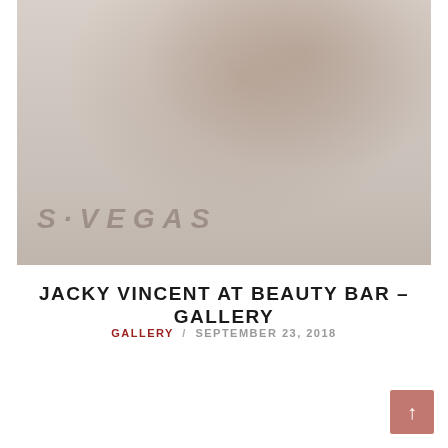[Figure (photo): A faded/washed out photo of a musician (Jacky Vincent) playing guitar at Beauty Bar, with 'VEGAS' text visible in the background signage.]
JACKY VINCENT AT BEAUTY BAR - GALLERY
GALLERY / SEPTEMBER 23, 2018